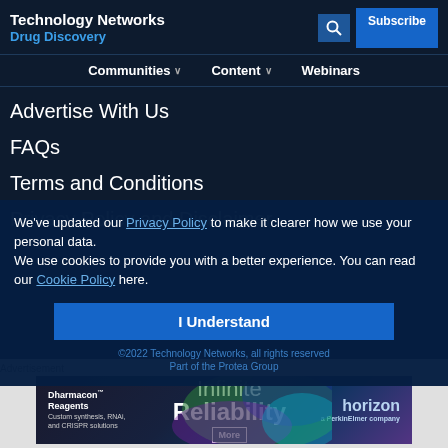Technology Networks
Drug Discovery
Communities  Content  Webinars
Advertise With Us
FAQs
Terms and Conditions
Privacy Policy and Disclaimer
We've updated our Privacy Policy to make it clearer how we use your personal data.
We use cookies to provide you with a better experience. You can read our Cookie Policy here.
©2022 Technology Networks, all rights reserved
Part of the Protea Group
Advertisement
[Figure (other): Dharmacon Reagents / Horizon advertisement banner: Infinite Reliability, More button]